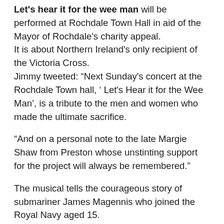Let's hear it for the wee man will be performed at Rochdale Town Hall in aid of the Mayor of Rochdale's charity appeal. It is about Northern Ireland's only recipient of the Victoria Cross. Jimmy tweeted: “Next Sunday's concert at the Rochdale Town hall, ‘ Let's Hear it for the Wee Man’, is a tribute to the men and women who made the ultimate sacrifice.
“And on a personal note to the late Margie Shaw from Preston whose unstinting support for the project will always be remembered.”
The musical tells the courageous story of submariner James Magennis who joined the Royal Navy aged 15.